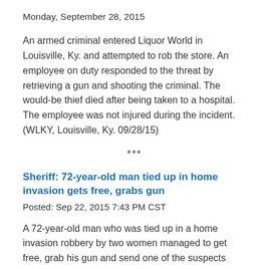Monday, September 28, 2015
An armed criminal entered Liquor World in Louisville, Ky. and attempted to rob the store. An employee on duty responded to the threat by retrieving a gun and shooting the criminal. The would-be thief died after being taken to a hospital. The employee was not injured during the incident. (WLKY, Louisville, Ky. 09/28/15)
***
Sheriff: 72-year-old man tied up in home invasion gets free, grabs gun
Posted: Sep 22, 2015 7:43 PM CST
A 72-year-old man who was tied up in a home invasion robbery by two women managed to get free, grab his gun and send one of the suspects running from his home,